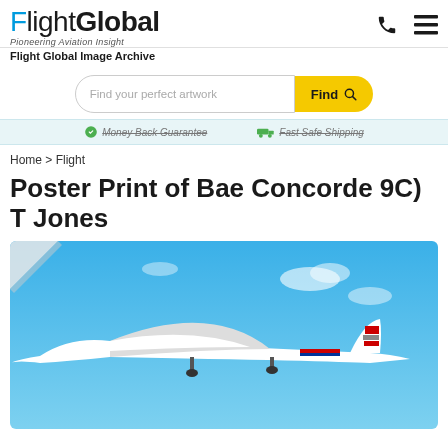FlightGlobal — Pioneering Aviation Insight — Flight Global Image Archive
[Figure (screenshot): FlightGlobal website header with logo, phone icon, and hamburger menu icon]
[Figure (other): Search bar with placeholder 'Find your perfect artwork' and yellow Find button with magnifying glass icon]
Money Back Guarantee   Fast Safe Shipping
Home > Flight
Poster Print of Bae Concorde 9C) T Jones
[Figure (photo): Photograph of a British Airways Concorde aircraft in flight against a blue sky with light clouds. The white aircraft is shown in profile with its distinctive drooped nose and delta wing shape, with British Airways livery including red and blue tail markings.]